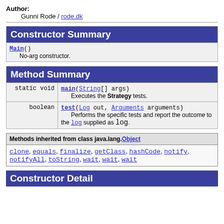Author: Gunni Rode / rode.dk
| Constructor Summary |
| --- |
| Main() | No-arg constructor. |
| Method Summary |
| --- |
| static void | main(String[] args)
Executes the Strategy tests. |
| boolean | test(Log out, Arguments arguments)
Performs the specific tests and report the outcome to the log supplied as log. |
| Methods inherited from class java.lang.Object |
| --- |
| clone, equals, finalize, getClass, hashCode, notify, notifyAll, toString, wait, wait, wait |
Constructor Detail